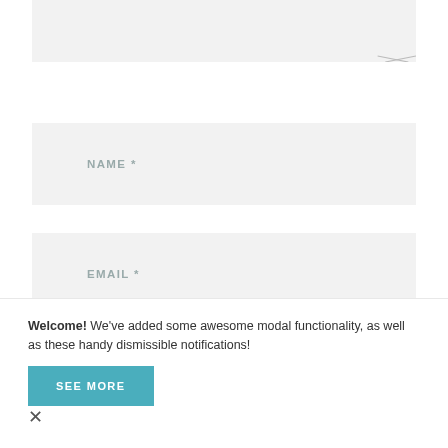[Figure (screenshot): Top portion of a web comment/contact form showing a partially visible textarea with a resize handle in the bottom-right corner]
NAME *
EMAIL *
WEBSITE
SAVE MY NAME, EMAIL, AND WEBSITE IN THIS BROWSER FOR THE
Welcome! We've added some awesome modal functionality, as well as these handy dismissible notifications!
SEE MORE